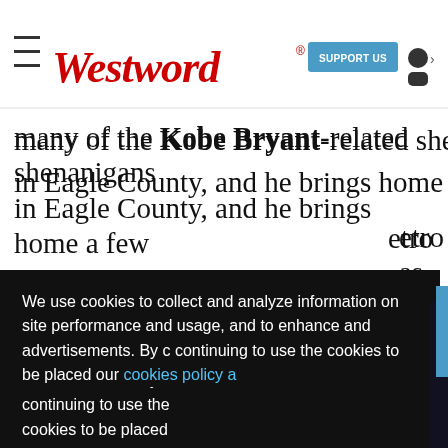Westword | SUPPORT US
many of the Kobe Bryant-related shenanigans in Eagle County, and he brings home a few
etro
as
We use cookies to collect and analyze information on site performance and usage, and to enhance and advertisements. By continuing to use the cookies to be placed our cookies policy a
[Figure (screenshot): Sponsored Content - Rockies vs. Mets H... video thumbnail with Rockies R logo and Mets NY logo, mute button overlay]
Got it!
This touches a real nerve, he says. A lot of